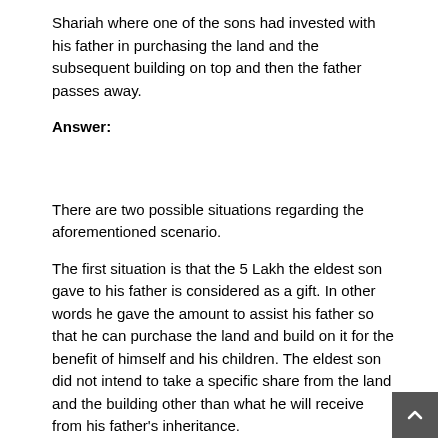Shariah where one of the sons had invested with his father in purchasing the land and the subsequent building on top and then the father passes away.
Answer:
There are two possible situations regarding the aforementioned scenario.
The first situation is that the 5 Lakh the eldest son gave to his father is considered as a gift. In other words he gave the amount to assist his father so that he can purchase the land and build on it for the benefit of himself and his children. The eldest son did not intend to take a specific share from the land and the building other than what he will receive from his father's inheritance.
In this situation, the current value of the land and the building on top will be distributed equally between all four sons.